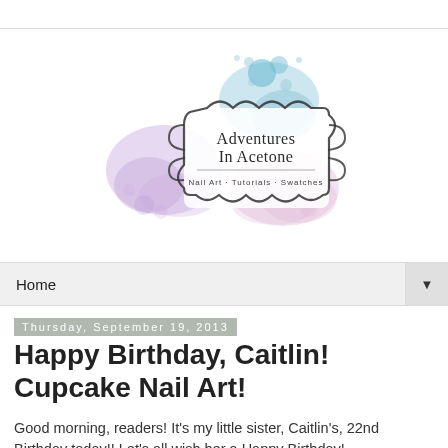[Figure (logo): Adventures In Acetone blog logo — decorative frame with watercolor splashes in purple, blue, and pink. Text inside frame reads 'Adventures In Acetone' with tagline 'Nail Art · Tutorials · Swatches']
Home ▼
Thursday, September 19, 2013
Happy Birthday, Caitlin! Cupcake Nail Art!
Good morning, readers! It's my little sister, Caitlin's, 22nd Birthday today!! Let's all wish her a Happy Birthday!